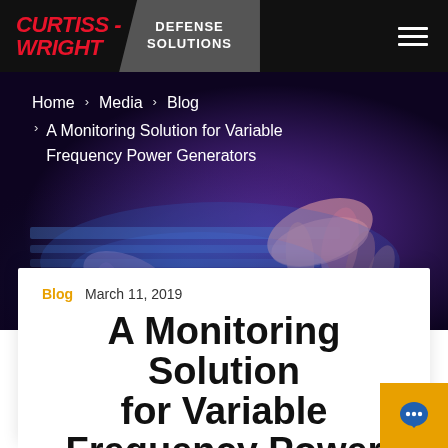[Figure (screenshot): Curtiss-Wright Defense Solutions website header with black navigation bar, logo, and hero section showing hands on a tablet with dark purple overlay and breadcrumb navigation]
CURTISS-WRIGHT  DEFENSE SOLUTIONS
Home > Media > Blog > A Monitoring Solution for Variable Frequency Power Generators
Blog   March 11, 2019
A Monitoring Solution for Variable Frequency Power